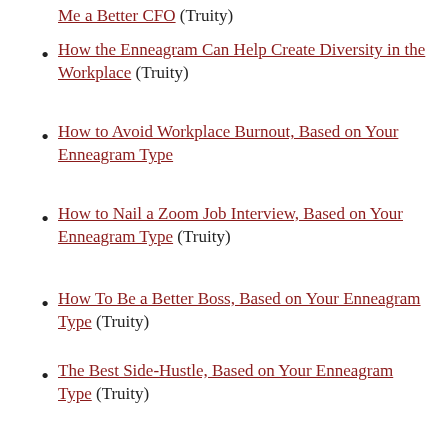Me a Better CFO (Truity)
How the Enneagram Can Help Create Diversity in the Workplace (Truity)
How to Avoid Workplace Burnout, Based on Your Enneagram Type
How to Nail a Zoom Job Interview, Based on Your Enneagram Type (Truity)
How To Be a Better Boss, Based on Your Enneagram Type (Truity)
The Best Side-Hustle, Based on Your Enneagram Type (Truity)
The Embodied Enneagram
Kundalini Yoga as the Key to Unlocking the